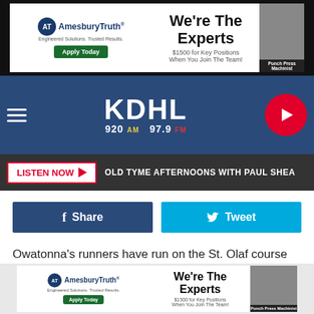[Figure (screenshot): AmesburyTruth advertisement banner - We're The Experts, $1500 for Key Positions When You Join The Team! Apply Today. Punch Press Machinist.]
[Figure (logo): KDHL 920 AM 97.9 FM radio station navigation bar with hamburger menu and play button]
LISTEN NOW  OLD TYME AFTERNOONS WITH PAUL SHEA
[Figure (infographic): Facebook Share button (dark blue) and Twitter Tweet button (light blue)]
Owatonna's runners have run on the St. Olaf course this season.
KEEP UP WITH LOCAL SPORTS ON THE APP
[Figure (screenshot): AmesburyTruth advertisement banner at bottom - We're The Experts, Apply Today, Punch Press Machinist.]